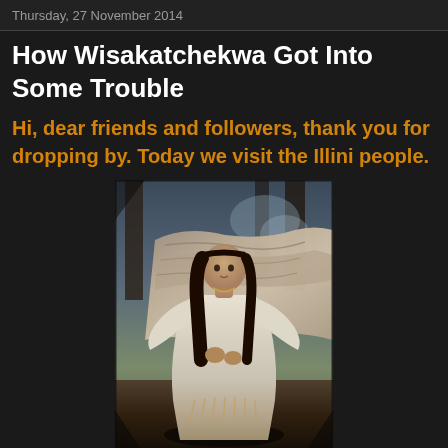Thursday, 27 November 2014
How Wisakatchekwa Got Into Some Trouble
Hi, dear friends and followers, thank you for dropping by. Today we visit the Illini people.
[Figure (illustration): A painting of a Native American woman in a white dress with long dark hair, standing before a large gnarled tree trunk and forest background.]